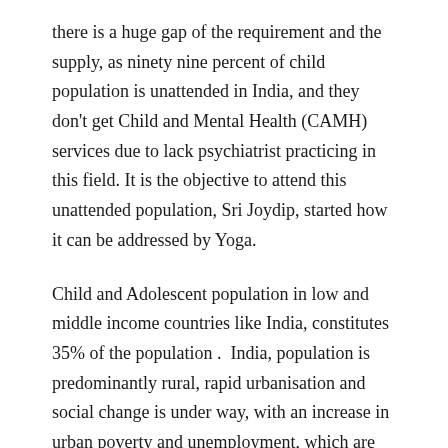there is a huge gap of the requirement and the supply, as ninety nine percent of child population is unattended in India, and they don't get Child and Mental Health (CAMH) services due to lack psychiatrist practicing in this field. It is the objective to attend this unattended population, Sri Joydip, started how it can be addressed by Yoga.
Child and Adolescent population in low and middle income countries like India, constitutes 35% of the population .  India, population is predominantly rural, rapid urbanisation and social change is under way, with an increase in urban poverty and unemployment, which are risk factors for poor child and adolescent mental health (CAMH) care.
This is where we plan to reach out his '99 percent of